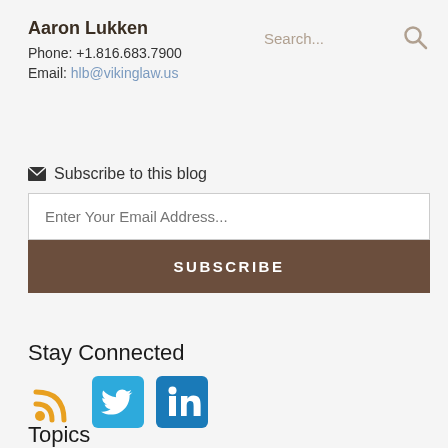Aaron Lukken
Phone: +1.816.683.7900
Email: hlb@vikinglaw.us
Search...
Subscribe to this blog
Enter Your Email Address...
SUBSCRIBE
Stay Connected
[Figure (other): Social media icons: RSS feed (orange), Twitter (blue bird), LinkedIn (blue in square)]
Topics